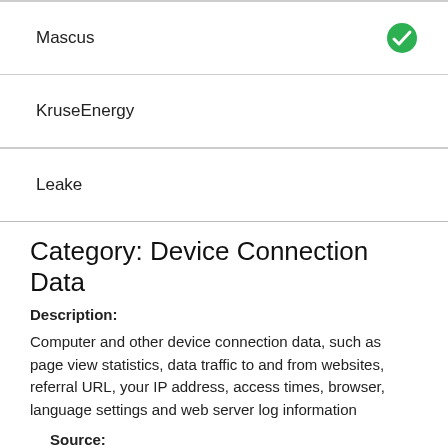| Name | Enabled |
| --- | --- |
| Mascus | ✓ |
| KruseEnergy |  |
| Leake |  |
Category: Device Connection Data
Description:
Computer and other device connection data, such as page view statistics, data traffic to and from websites, referral URL, your IP address, access times, browser, language settings and web server log information
Source:
Information from your device we collect automatically when you